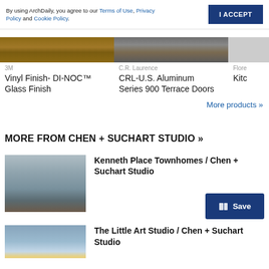By using ArchDaily, you agree to our Terms of Use, Privacy Policy and Cookie Policy.
I ACCEPT
[Figure (photo): Wood texture product image for 3M Vinyl Finish]
3M
Vinyl Finish- DI-NOC™ Glass Finish
[Figure (photo): Door product image for C.R. Laurence CRL-U.S. Aluminum Series 900 Terrace Doors]
C.R. Laurence
CRL-U.S. Aluminum Series 900 Terrace Doors
[Figure (photo): Partial product image, brand Flore, product name starting with Kitc]
Flore
Kitc
More products »
MORE FROM CHEN + SUCHART STUDIO »
[Figure (photo): Exterior photo of Kenneth Place Townhomes showing white modern townhomes along a narrow driveway at dusk]
Kenneth Place Townhomes / Chen + Suchart Studio
Save
[Figure (photo): Partial photo for The Little Art Studio article]
The Little Art Studio / Chen + Suchart Studio